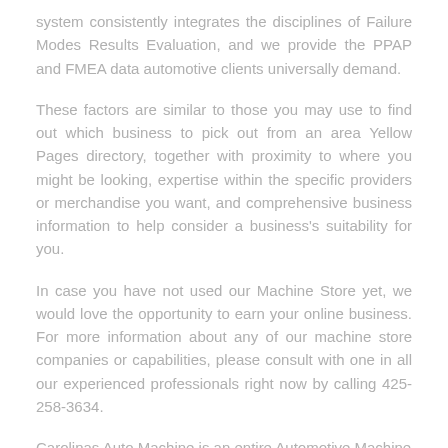system consistently integrates the disciplines of Failure Modes Results Evaluation, and we provide the PPAP and FMEA data automotive clients universally demand.
These factors are similar to those you may use to find out which business to pick out from an area Yellow Pages directory, together with proximity to where you might be looking, expertise within the specific providers or merchandise you want, and comprehensive business information to help consider a business's suitability for you.
In case you have not used our Machine Store yet, we would love the opportunity to earn your online business. For more information about any of our machine store companies or capabilities, please consult with one in all our experienced professionals right now by calling 425-258-3634.
Carolinas Auto Machine is an entire Automotive Machine